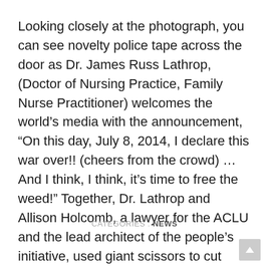Looking closely at the photograph, you can see novelty police tape across the door as Dr. James Russ Lathrop, (Doctor of Nursing Practice, Family Nurse Practitioner) welcomes the world's media with the announcement, “On this day, July 8, 2014, I declare this war over!! (cheers from the crowd) … And I think, I think, it’s time to free the weed!” Together, Dr. Lathrop and Allison Holcomb, a lawyer for the ACLU and the lead architect of the people’s initiative, used giant scissors to cut across the police tape. The original marijuana purchase by Deb Green, the giant scissors, some of the police tape, the lottery award letter to Cannabis City, and other artifacts from that historic day are in the possession of the MOHAI museum of Seattle.
CATEGORIES : NEWS